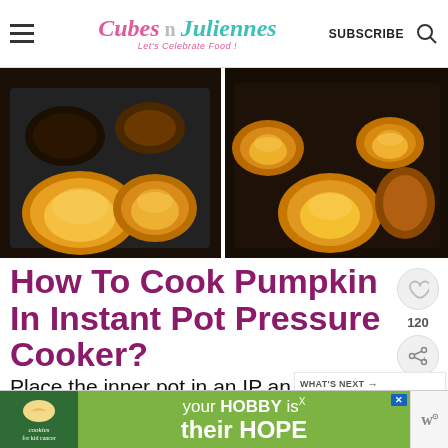Cubes n Juliennes - Let's Celebrate Food! SUBSCRIBE
[Figure (photo): Two side-by-side photos of pumpkin/squash slices on dark baking trays, showing cooked golden-orange pumpkin pieces.]
How To Cook Pumpkin In Instant Pot Pressure Cooker?
Place the inner pot in an IP and on. Add 1 and ½ cup of water in a pot an
[Figure (photo): What's Next widget showing a thumbnail of a red spice bowl with text 'Easy Homemade...']
[Figure (infographic): Advertisement banner: cookies for kid cancer / your HOBBY is their HOPE with a heart-shaped cookie image.]